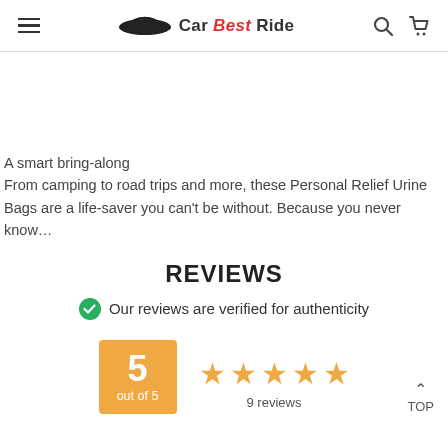Car Best Ride
A smart bring-along
From camping to road trips and more, these Personal Relief Urine Bags are a life-saver you can't be without. Because you never know...
REVIEWS
Our reviews are verified for authenticity
5 out of 5 — 9 reviews